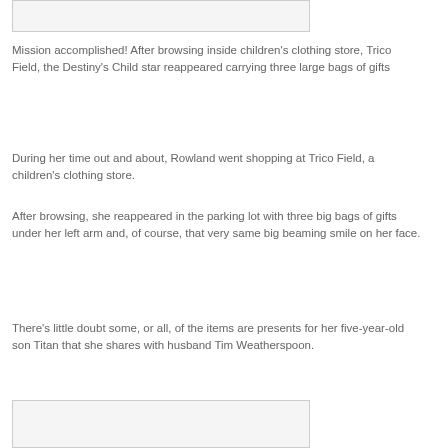[Figure (photo): Top image placeholder box (partial photo visible at top of page)]
Mission accomplished! After browsing inside children’s clothing store, Trico Field, the Destiny’s Child star reappeared carrying three large bags of gifts
During her time out and about, Rowland went shopping at Trico Field, a children’s clothing store.
After browsing, she reappeared in the parking lot with three big bags of gifts under her left arm and, of course, that very same big beaming smile on her face.
There’s little doubt some, or all, of the items are presents for her five-year-old son Titan that she shares with husband Tim Weatherspoon.
[Figure (photo): Bottom image placeholder box (partial photo visible at bottom of page)]